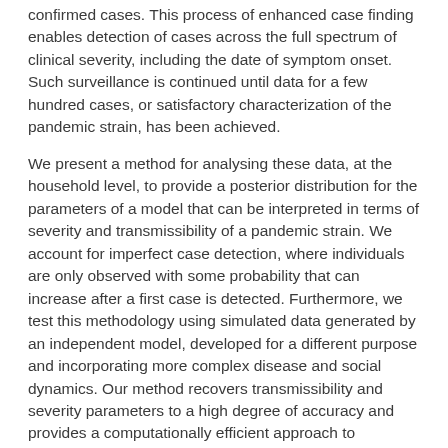confirmed cases. This process of enhanced case finding enables detection of cases across the full spectrum of clinical severity, including the date of symptom onset. Such surveillance is continued until data for a few hundred cases, or satisfactory characterization of the pandemic strain, has been achieved.
We present a method for analysing these data, at the household level, to provide a posterior distribution for the parameters of a model that can be interpreted in terms of severity and transmissibility of a pandemic strain. We account for imperfect case detection, where individuals are only observed with some probability that can increase after a first case is detected. Furthermore, we test this methodology using simulated data generated by an independent model, developed for a different purpose and incorporating more complex disease and social dynamics. Our method recovers transmissibility and severity parameters to a high degree of accuracy and provides a computationally efficient approach to estimating the impact of an outbreak in its early stages.